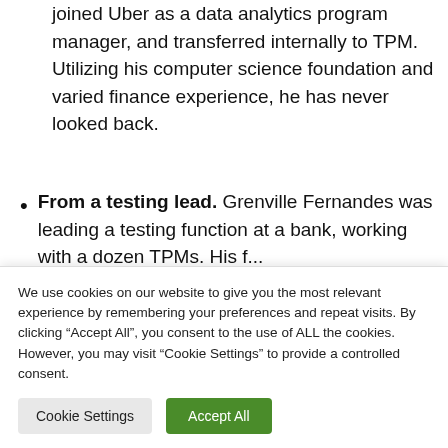joined Uber as a data analytics program manager, and transferred internally to TPM. Utilizing his computer science foundation and varied finance experience, he has never looked back.
From a testing lead. Grenville Fernandes was leading a testing function at a bank, working with a dozen TPMs. His f...
We use cookies on our website to give you the most relevant experience by remembering your preferences and repeat visits. By clicking "Accept All", you consent to the use of ALL the cookies. However, you may visit "Cookie Settings" to provide a controlled consent.